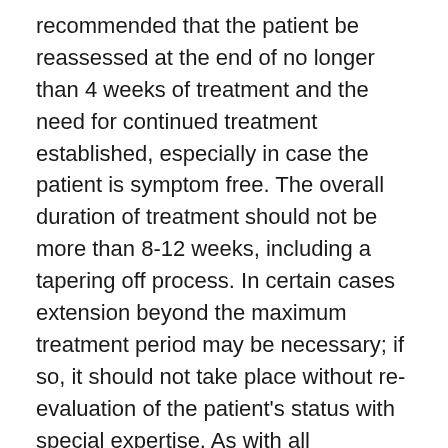recommended that the patient be reassessed at the end of no longer than 4 weeks of treatment and the need for continued treatment established, especially in case the patient is symptom free. The overall duration of treatment should not be more than 8-12 weeks, including a tapering off process. In certain cases extension beyond the maximum treatment period may be necessary; if so, it should not take place without re-evaluation of the patient's status with special expertise. As with all benzodiazepines, physicians should be aware that long-term use might lead to dependence in certain patients. The optimum dosage of Helex Retard should be based upon the severity of the symptoms and individual patient response. The lowest dose